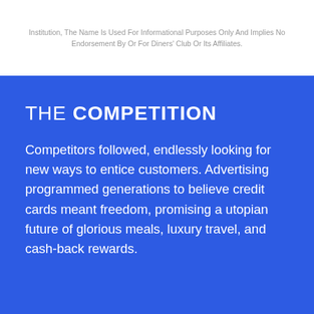Institution, The Name Is Used For Informational Purposes Only And Implies No Endorsement By Or For Diners' Club Or Its Affiliates.
THE COMPETITION
Competitors followed, endlessly looking for new ways to entice customers. Advertising programmed generations to believe credit cards meant freedom, promising a utopian future of glorious meals, luxury travel, and cash-back rewards.